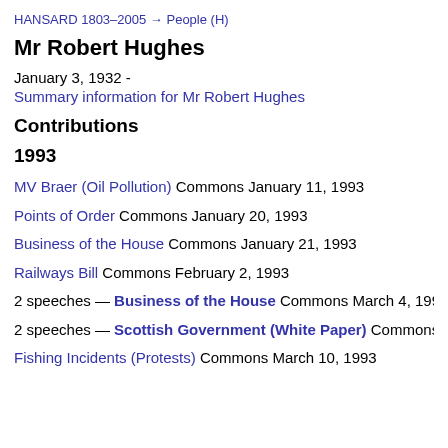HANSARD 1803–2005 → People (H)
Mr Robert Hughes
January 3, 1932 -
Summary information for Mr Robert Hughes
Contributions
1993
MV Braer (Oil Pollution) Commons January 11, 1993
Points of Order Commons January 20, 1993
Business of the House Commons January 21, 1993
Railways Bill Commons February 2, 1993
2 speeches — Business of the House Commons March 4, 1993
2 speeches — Scottish Government (White Paper) Commons
Fishing Incidents (Protests) Commons March 10, 1993